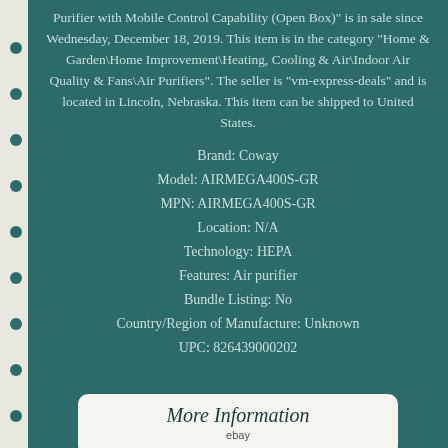Purifier with Mobile Control Capability (Open Box)" is in sale since Wednesday, December 18, 2019. This item is in the category "Home & Garden\Home Improvement\Heating, Cooling & Air\Indoor Air Quality & Fans\Air Purifiers". The seller is "vm-express-deals" and is located in Lincoln, Nebraska. This item can be shipped to United States.
Brand: Coway
Model: AIRMEGA400S-GR
MPN: AIRMEGA400S-GR
Location: N/A
Technology: HEPA
Features: Air purifier
Bundle Listing: No
Country/Region of Manufacture: Unknown
UPC: 826439000202
[Figure (screenshot): More Information button linking to eBay listing]